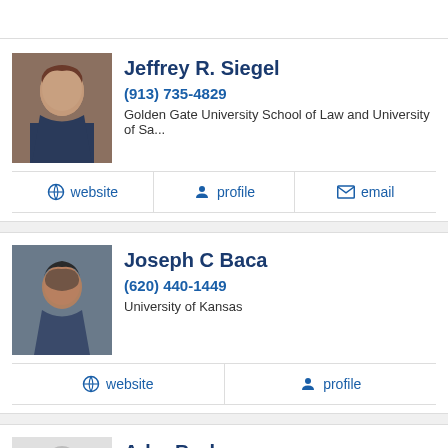[Figure (photo): Headshot of Jeffrey R. Siegel, male with reddish-brown hair in professional attire]
Jeffrey R. Siegel
(913) 735-4829
Golden Gate University School of Law and University of Sa...
website | profile | email
[Figure (photo): Headshot of Joseph C Baca, male with dark hair in professional attire]
Joseph C Baca
(620) 440-1449
University of Kansas
website | profile
[Figure (photo): Placeholder silhouette for Adra Burks]
Adra Burks
(785) 841-4269